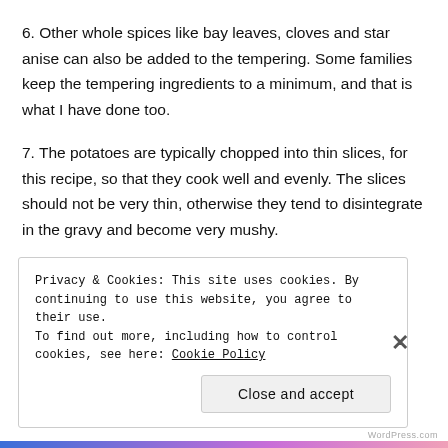6. Other whole spices like bay leaves, cloves and star anise can also be added to the tempering. Some families keep the tempering ingredients to a minimum, and that is what I have done too.
7. The potatoes are typically chopped into thin slices, for this recipe, so that they cook well and evenly. The slices should not be very thin, otherwise they tend to disintegrate in the gravy and become very mushy.
Privacy & Cookies: This site uses cookies. By continuing to use this website, you agree to their use.
To find out more, including how to control cookies, see here: Cookie Policy